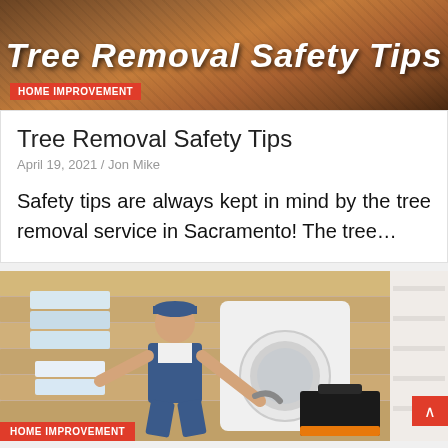[Figure (photo): Header image with 'Tree Removal Safety Tips' text in bold italic white font over a brown/orange textured background]
HOME IMPROVEMENT
Tree Removal Safety Tips
April 19, 2021 / Jon Mike
Safety tips are always kept in mind by the tree removal service in Sacramento! The tree…
[Figure (photo): A smiling male technician in blue overalls and cap crouching next to a washing machine, holding tools, with folded towels and laundry room in background]
HOME IMPROVEMENT